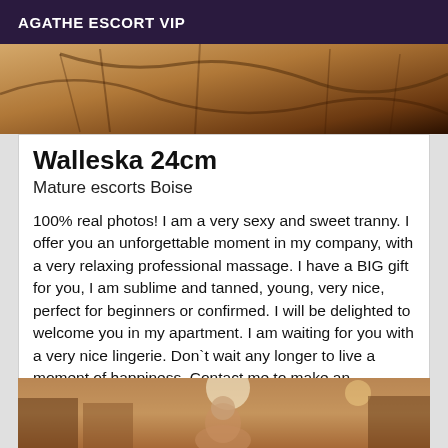AGATHE ESCORT VIP
[Figure (photo): Partial photo showing branches or bicycle against a warm orange-brown background, cropped at the top]
Walleska 24cm
Mature escorts Boise
100% real photos! I am a very sexy and sweet tranny. I offer you an unforgettable moment in my company, with a very relaxing professional massage. I have a BIG gift for you, I am sublime and tanned, young, very nice, perfect for beginners or confirmed. I will be delighted to welcome you in my apartment. I am waiting for you with a very nice lingerie. Don`t wait any longer to live a moment of happiness. Contact me to make an appointment I don't answer hidden calls!
[Figure (photo): Photo of a young woman with brown hair on a street with shop fronts and lights in the background]